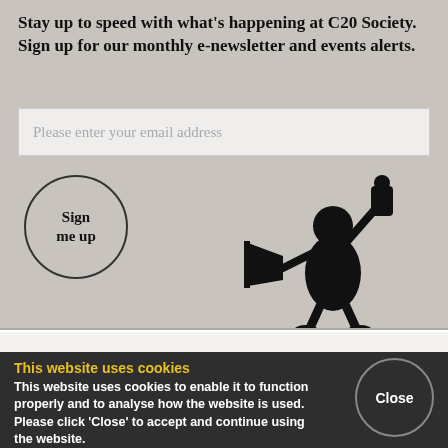Stay up to speed with what's happening at C20 Society. Sign up for our monthly e-newsletter and events alerts.
Please enter your email address
Sign me up
[Figure (illustration): Black and white line drawing of a person holding a megaphone in one hand and a document/scroll in the other hand raised up, wearing a suit]
[Figure (logo): C20 Society circular red logo with white C20 text]
News
Action
Events
Shop
This website uses cookies
This website uses cookies to enable it to function properly and to analyse how the website is used. Please click 'Close' to accept and continue using the website.
Close